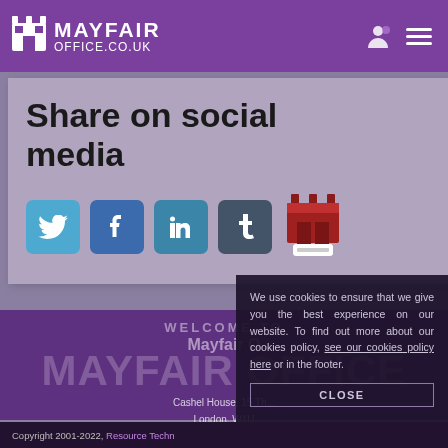MAYFAIR OFFICE.CO.UK
Share on social media
[Figure (illustration): Social media share buttons: Twitter, Facebook, LinkedIn, Tumblr, and Mayfair Office icon]
WELCOME TO Mayfair O MAYFAIR OFFICE Cashel House, 15 Th... London, W1U Tel: 020 7467 5
We use cookies to ensure that we give you the best experience on our website. To find out more about our cookies policy, see our cookies policy here or in the footer.
CLOSE
Copyright 2001-2022, Resource Techn...